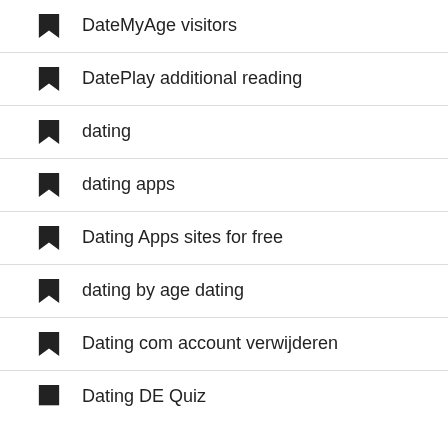DateMyAge visitors
DatePlay additional reading
dating
dating apps
Dating Apps sites for free
dating by age dating
Dating com account verwijderen
Dating DE Quiz